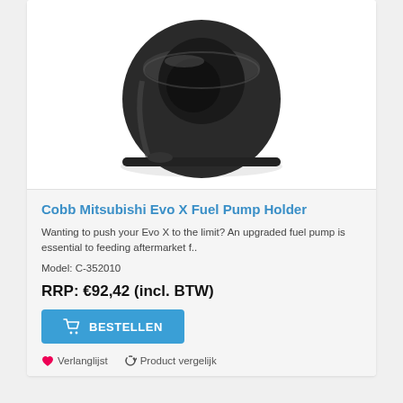[Figure (photo): Close-up photo of a black Cobb Mitsubishi Evo X Fuel Pump Holder component, a cylindrical dark metal/rubber part with a conical recess, on white background.]
Cobb Mitsubishi Evo X Fuel Pump Holder
Wanting to push your Evo X to the limit? An upgraded fuel pump is essential to feeding aftermarket f..
Model: C-352010
RRP: €92,42 (incl. BTW)
BESTELLEN
Verlanglijst   Product vergelijk